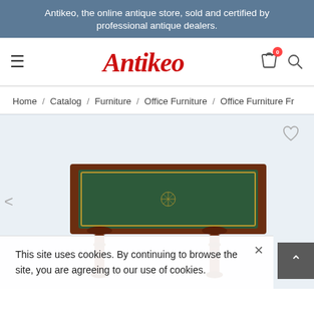Antikeo, the online antique store, sold and certified by professional antique dealers.
[Figure (logo): Antikeo logo in red italic serif font]
Home / Catalog / Furniture / Office Furniture / Office Furniture Fr
[Figure (photo): Antique writing desk with dark green leather top and ornate carved wooden legs]
This site uses cookies. By continuing to browse the site, you are agreeing to our use of cookies.